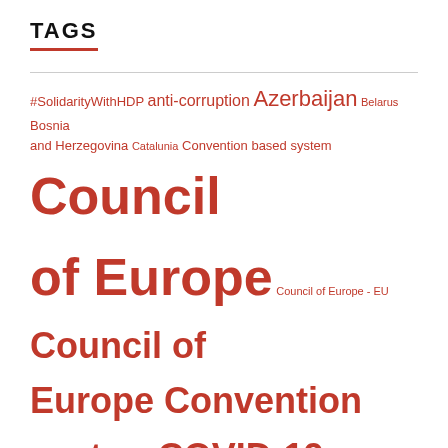TAGS
[Figure (infographic): Tag cloud with terms related to European political/human rights topics, rendered in red at varying font sizes indicating frequency/importance. Terms include: #SolidarityWithHDP, anti-corruption, Azerbaijan, Belarus, Bosnia and Herzegovina, Catalunia, Convention based system, Council of Europe, Council of Europe - EU, Council of Europe Convention system, COVID-19, Cyprus, ECHR, ECtHR, election observation, EU-Turkey deal, EU accession to ECHR, European Left, fighting racism and discrimination, freedom of speech, Greece, human rights, Inter-parliamentary Dialogue, international, Kox report, Moldova, OECD, PACE, PACE Monitoring, PACEvoices, Palestine, Paris, peace, political prisoners, refugees, rule of law, Russia, social]